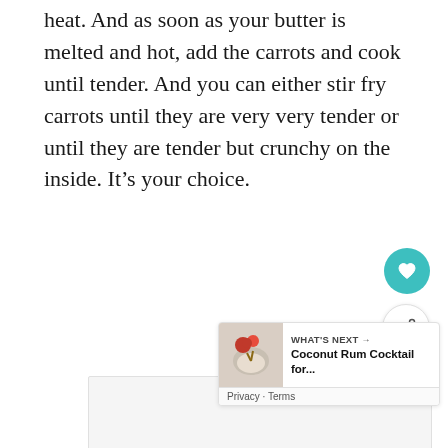heat.  And as soon as your butter is melted and hot, add the carrots and cook until tender.   And you can either stir fry carrots until they are very very tender or until they are tender but crunchy on the inside.  It's your choice.
[Figure (other): Advertisement placeholder block with three loading dots in the center, a teal heart/favorite button and a white share button on the right side, and a 'What's Next' card at the bottom right showing a Coconut Rum Cocktail thumbnail with Privacy and Terms links.]